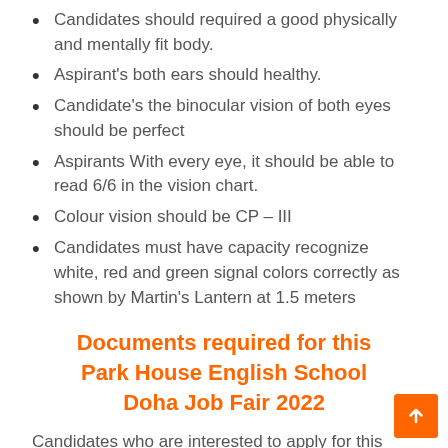Candidates should required a good physically and mentally fit body.
Aspirant's both ears should healthy.
Candidate's the binocular vision of both eyes should be perfect
Aspirants With every eye, it should be able to read 6/6 in the vision chart.
Colour vision should be CP – III
Candidates must have capacity recognize white, red and green signal colors correctly as shown by Martin's Lantern at 1.5 meters
Documents required for this Park House English School Doha Job Fair 2022
Candidates who are interested to apply for this Park House English School Doha Job Fair needs few